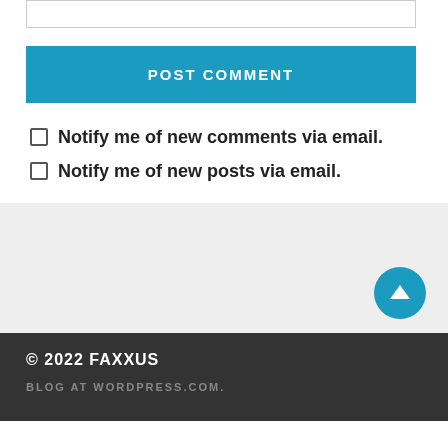[Figure (other): Text input box at top of page]
POST COMMENT
Notify me of new comments via email.
Notify me of new posts via email.
© 2022 FAXXUS
BLOG AT WORDPRESS.COM.